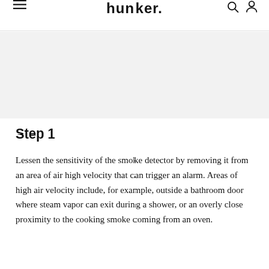hunker
[Figure (other): Gray advertisement banner area]
Step 1
Lessen the sensitivity of the smoke detector by removing it from an area of air high velocity that can trigger an alarm. Areas of high air velocity include, for example, outside a bathroom door where steam vapor can exit during a shower, or an overly close proximity to the cooking smoke coming from an oven.